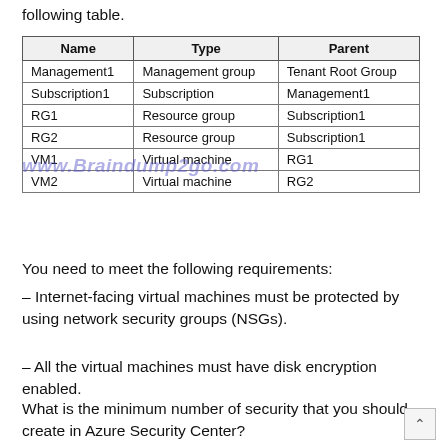following table.
| Name | Type | Parent |
| --- | --- | --- |
| Management1 | Management group | Tenant Root Group |
| Subscription1 | Subscription | Management1 |
| RG1 | Resource group | Subscription1 |
| RG2 | Resource group | Subscription1 |
| VM1 | Virtual machine | RG1 |
| VM2 | Virtual machine | RG2 |
You need to meet the following requirements:
– Internet-facing virtual machines must be protected by using network security groups (NSGs).
– All the virtual machines must have disk encryption enabled.
What is the minimum number of security that you should create in Azure Security Center?